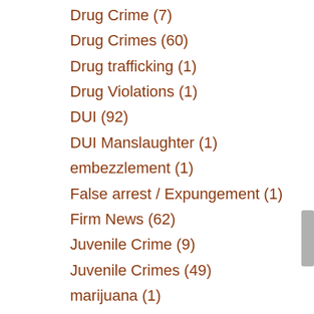Drug Crime (7)
Drug Crimes (60)
Drug trafficking (1)
Drug Violations (1)
DUI (92)
DUI Manslaughter (1)
embezzlement (1)
False arrest / Expungement (1)
Firm News (62)
Juvenile Crime (9)
Juvenile Crimes (49)
marijuana (1)
Sex Crimes (6)
Traffic Violations (1)
Violent Crime (1)